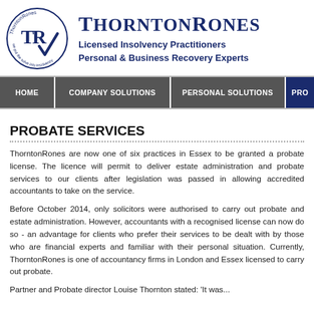[Figure (logo): ThorntonRones circular logo with TR monogram and tagline 'we put the solve into insolvency']
THORNTONRONES
Licensed Insolvency Practitioners
Personal & Business Recovery Experts
HOME | COMPANY SOLUTIONS | PERSONAL SOLUTIONS | PRO...
PROBATE SERVICES
ThorntonRones are now one of six practices in Essex to be granted a probate license. The licence will permit to deliver estate administration and probate services to our clients after legislation was passed in allowing accredited accountants to take on the service.
Before October 2014, only solicitors were authorised to carry out probate and estate administration. However, accountants with a recognised license can now do so - an advantage for clients who prefer their services to be dealt with by those who are financial experts and familiar with their personal situation. Currently, ThorntonRones is one of accountancy firms in London and Essex licensed to carry out probate.
Partner and Probate director Louise Thornton stated: 'It was...